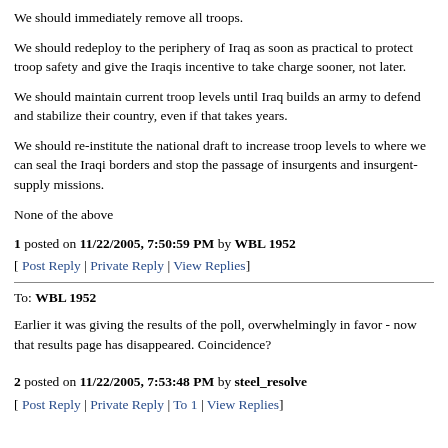We should immediately remove all troops.
We should redeploy to the periphery of Iraq as soon as practical to protect troop safety and give the Iraqis incentive to take charge sooner, not later.
We should maintain current troop levels until Iraq builds an army to defend and stabilize their country, even if that takes years.
We should re-institute the national draft to increase troop levels to where we can seal the Iraqi borders and stop the passage of insurgents and insurgent-supply missions.
None of the above
1 posted on 11/22/2005, 7:50:59 PM by WBL 1952
[ Post Reply | Private Reply | View Replies]
To: WBL 1952
Earlier it was giving the results of the poll, overwhelmingly in favor - now that results page has disappeared. Coincidence?
2 posted on 11/22/2005, 7:53:48 PM by steel_resolve
[ Post Reply | Private Reply | To 1 | View Replies]